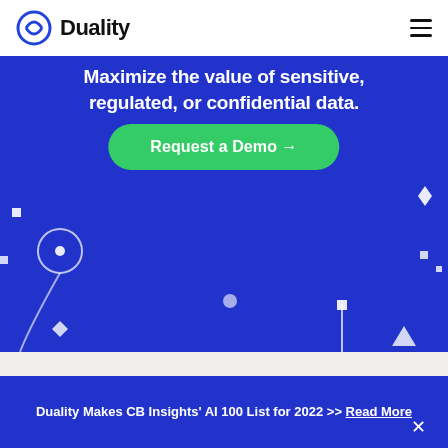[Figure (logo): Duality logo with angular diamond/circle icon and text 'Duality']
Maximize the value of sensitive, regulated, or confidential data.
Request a Demo →
[Figure (illustration): Blue hero background with decorative geometric shapes: circle, squares, diamonds, triangle, lines]
Subscribe to our newsletter and stay up-to-date on the latest news
Duality Makes CB Insights' AI 100 List for 2022 >> Read More